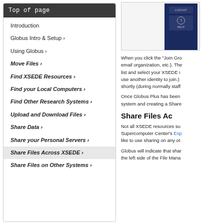Top of page
Introduction
Globus Intro & Setup ›
Using Globus ›
Move Files ›
Find XSEDE Resources ›
Find your Local Computers ›
Find Other Research Systems ›
Upload and Download Files ›
Share Data ›
Share your Personal Servers ›
Share Files Across XSEDE ›
Share Files on Other Systems ›
[Figure (screenshot): Screenshot showing LOGOUT and HELP buttons on a dark navy blue sidebar UI panel]
When you click the "Join Gro email organization, etc.). The list and select your XSEDE i use another identity to join.) shortly (during normally staff
Once Globus Plus has been system and creating a Share
Share Files Ac
Not all XSEDE resources su Supercomputer Center's Exp like to use sharing on any ot
Globus will indicate that shar the left side of the File Mana